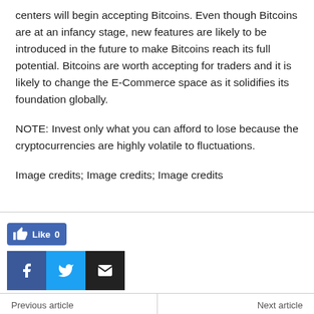centers will begin accepting Bitcoins. Even though Bitcoins are at an infancy stage, new features are likely to be introduced in the future to make Bitcoins reach its full potential. Bitcoins are worth accepting for traders and it is likely to change the E-Commerce space as it solidifies its foundation globally.
NOTE: Invest only what you can afford to lose because the cryptocurrencies are highly volatile to fluctuations.
Image credits; Image credits; Image credits
[Figure (other): Social media sharing buttons: Like button (Facebook, count 0), Facebook share button (f icon), Twitter share button (bird icon), Email share button (envelope icon)]
Previous article | Next article